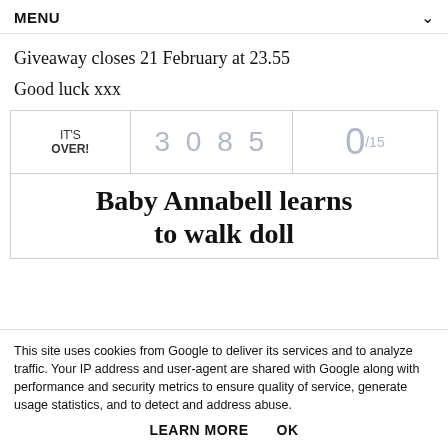MENU
Giveaway closes 21 February at 23.55
Good luck xxx
[Figure (infographic): Giveaway widget showing IT'S OVER!, entry count 3085, and fraction 0/15, with title 'Baby Annabell learns to walk doll']
This site uses cookies from Google to deliver its services and to analyze traffic. Your IP address and user-agent are shared with Google along with performance and security metrics to ensure quality of service, generate usage statistics, and to detect and address abuse.
LEARN MORE    OK